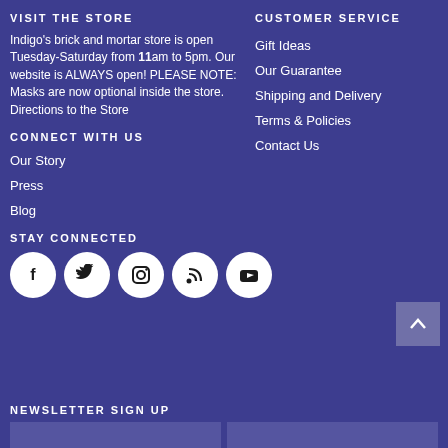VISIT THE STORE
Indigo's brick and mortar store is open Tuesday-Saturday from 11am to 5pm. Our website is ALWAYS open! PLEASE NOTE: Masks are now optional inside the store. Directions to the Store
CUSTOMER SERVICE
Gift Ideas
Our Guarantee
Shipping and Delivery
Terms & Policies
Contact Us
CONNECT WITH US
Our Story
Press
Blog
STAY CONNECTED
[Figure (infographic): Social media icons: Facebook, Twitter, Instagram, RSS, YouTube]
NEWSLETTER SIGN UP